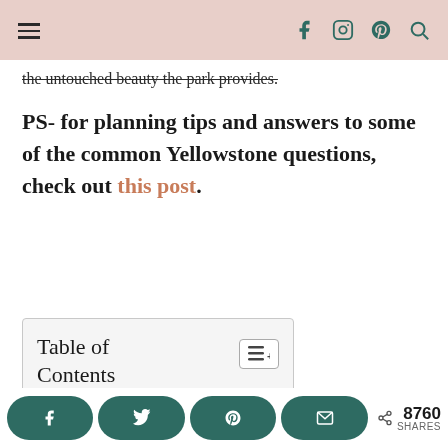≡  [navigation icons: facebook, instagram, pinterest, search]
the untouched beauty the park provides.
PS- for planning tips and answers to some of the common Yellowstone questions, check out this post.
Table of Contents
About this Itinerary
8760 SHARES [share buttons: facebook, twitter, pinterest, email]